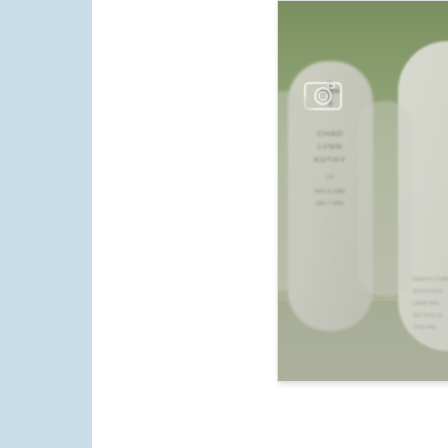[Figure (photo): Photo of military grave markers/headstones at a national cemetery, showing inscribed names including CHAD LYNN KUTHY and PATRICK RYAN ADLER (LCPL, 1 MARINE CO, MAR 3 1981, JUN 29 2006, PURPLE HEART, OPERATION, BACH FRYD...), partially cut off at right edge. The image is slightly blurred with multiple white marble headstones visible.]
The soldier's courage and sacrifice is full of glory, forming the noblest breed of arms. But war itself is never glorious, and we must never mistake the means it employs.
— President Barack Obama, Nobel Peace Pri...